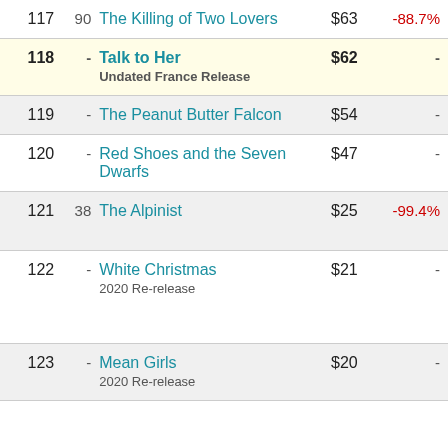| Rank | Prev | Title | Gross | Change |
| --- | --- | --- | --- | --- |
| 117 | 90 | The Killing of Two Lovers | $63 | -88.7% |
| 118 | - | Talk to Her
Undated France Release | $62 | - |
| 119 | - | The Peanut Butter Falcon | $54 | - |
| 120 | - | Red Shoes and the Seven Dwarfs | $47 | - |
| 121 | 38 | The Alpinist | $25 | -99.4% |
| 122 | - | White Christmas
2020 Re-release | $21 | - |
| 123 | - | Mean Girls
2020 Re-release | $20 | - |